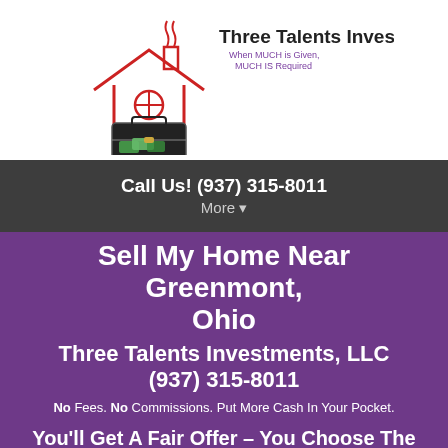[Figure (logo): Three Talents Investments logo: red house outline with chimney and circular window, open briefcase with money, company name in dark text, tagline 'When MUCH is Given, MUCH IS Required' in purple]
Call Us! (937) 315-8011
More ▾
Sell My Home Near Greenmont, Ohio
Three Talents Investments, LLC (937) 315-8011
No Fees. No Commissions. Put More Cash In Your Pocket.
You'll Get A Fair Offer – You Choose The